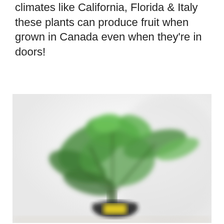climates like California, Florida & Italy these plants can produce fruit when grown in Canada even when they're in doors!
[Figure (photo): A blurred photo of a green leafy plant (likely a citrus or tropical plant) in a dark pot with a yellow label, placed on a light surface against a white/light grey background.]